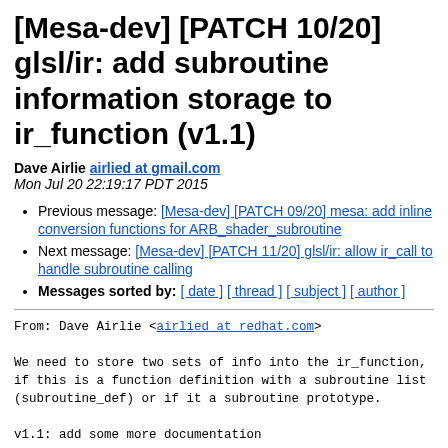[Mesa-dev] [PATCH 10/20] glsl/ir: add subroutine information storage to ir_function (v1.1)
Dave Airlie airlied at gmail.com
Mon Jul 20 22:19:17 PDT 2015
Previous message: [Mesa-dev] [PATCH 09/20] mesa: add inline conversion functions for ARB_shader_subroutine
Next message: [Mesa-dev] [PATCH 11/20] glsl/ir: allow ir_call to handle subroutine calling
Messages sorted by: [ date ] [ thread ] [ subject ] [ author ]
From: Dave Airlie <airlied at redhat.com>

We need to store two sets of info into the ir_function,
if this is a function definition with a subroutine list
(subroutine_def) or if it a subroutine prototype.

v1.1: add some more documentation